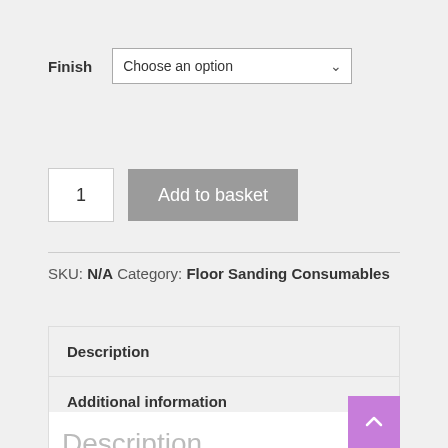Finish  Choose an option
1  Add to basket
SKU: N/A  Category: Floor Sanding Consumables
Description
Additional information
Reviews (0)
Description